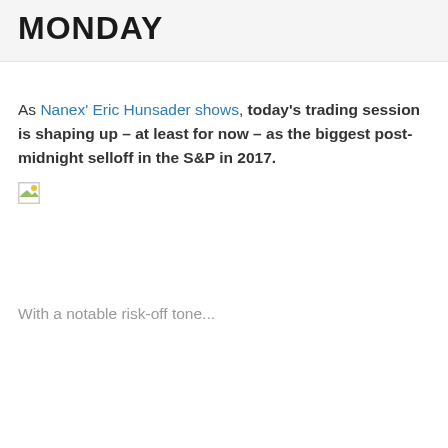MONDAY
As Nanex' Eric Hunsader shows, today's trading session is shaping up – at least for now – as the biggest post-midnight selloff in the S&P in 2017.
[Figure (photo): Broken image placeholder (image failed to load)]
With a notable risk-off tone...
[Figure (photo): Broken image placeholder (image failed to load)]
The selloff is global...
AsiaPac...